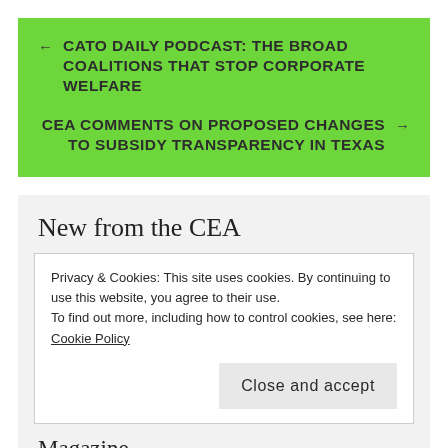← CATO DAILY PODCAST: THE BROAD COALITIONS THAT STOP CORPORATE WELFARE
CEA COMMENTS ON PROPOSED CHANGES TO SUBSIDY TRANSPARENCY IN TEXAS →
New from the CEA
Privacy & Cookies: This site uses cookies. By continuing to use this website, you agree to their use.
To find out more, including how to control cookies, see here: Cookie Policy
Close and accept
Magazine